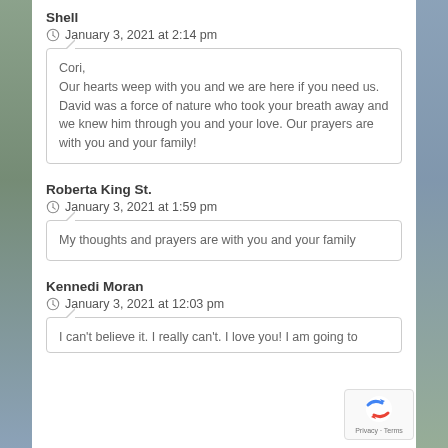Shell
January 3, 2021 at 2:14 pm
Cori,
Our hearts weep with you and we are here if you need us. David was a force of nature who took your breath away and we knew him through you and your love. Our prayers are with you and your family!
Roberta King St.
January 3, 2021 at 1:59 pm
My thoughts and prayers are with you and your family
Kennedi Moran
January 3, 2021 at 12:03 pm
I can't believe it. I really can't. I love you! I am going to